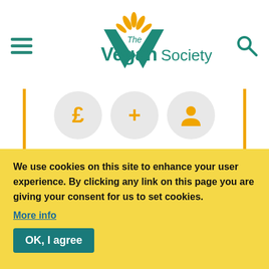[Figure (logo): The Vegan Society logo with lotus/leaf motif in teal and orange]
[Figure (infographic): Three circular icon buttons: pound sign, plus sign, and person/account icon in orange on grey circles]
Join our newsletter to receive monthly competitions, offers and information on all things vegan.
[Figure (other): Orange rounded rectangle Join button]
We use cookies on this site to enhance your user experience. By clicking any link on this page you are giving your consent for us to set cookies.
More info
OK, I agree